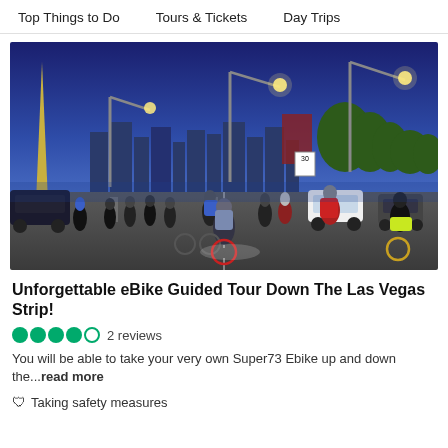Top Things to Do    Tours & Tickets    Day Trips
[Figure (photo): Group of cyclists riding down a Las Vegas street at dusk, with city skyline and street lights visible in the background.]
Unforgettable eBike Guided Tour Down The Las Vegas Strip!
●●●●○ 2 reviews
You will be able to take your very own Super73 Ebike up and down the...read more
🛡 Taking safety measures